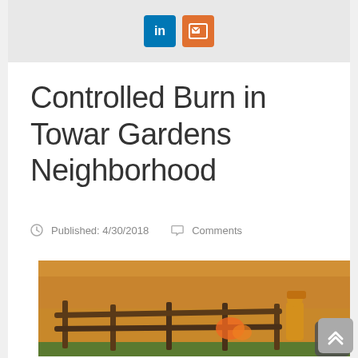[Figure (screenshot): Top banner area with LinkedIn (blue) and email/share (orange) social sharing icons on a light gray background]
Controlled Burn in Towar Gardens Neighborhood
Published: 4/30/2018   Comments
[Figure (photo): A firefighter in yellow gear standing beside a wooden split-rail fence with flames and smoke in the background during a controlled burn]